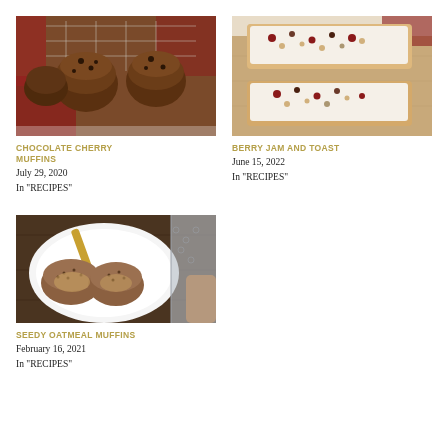[Figure (photo): Chocolate cherry muffins cooling on a wire rack with a red plaid cloth background]
CHOCOLATE CHERRY MUFFINS
July 29, 2020
In "RECIPES"
[Figure (photo): Berry jam on toast slices on a wooden board with toppings including nuts and dried fruit]
BERRY JAM AND TOAST
June 15, 2022
In "RECIPES"
[Figure (photo): Seedy oatmeal muffins on a white plate with a gold knife, dark wood background]
SEEDY OATMEAL MUFFINS
February 16, 2021
In "RECIPES"